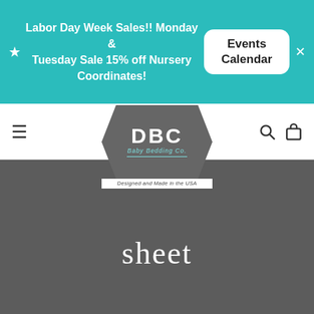Labor Day Week Sales!! Monday & Tuesday Sale 15% off Nursery Coordinates!
Events Calendar
[Figure (logo): DBC Baby Bedding Co logo — hexagon-shaped badge with 'DBC' in white letters, 'Baby Bedding Co.' in teal cursive script. Below: 'Designed and Made in the USA']
[Figure (photo): Dark gray background with repeating arrow/chevron pattern in lighter gray, forming vertical columns of upward-pointing arrows]
sheet